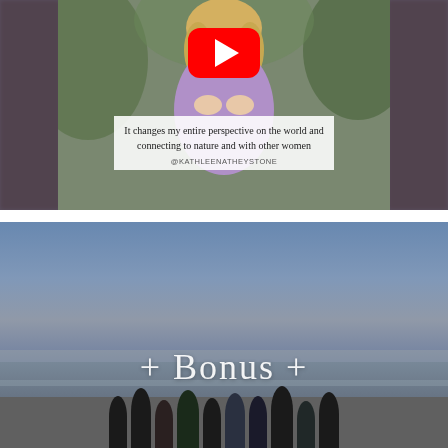[Figure (screenshot): Video thumbnail showing a woman in a purple top outdoors with greenery background, YouTube play button overlay, and a text box reading 'It changes my entire perspective on the world and connecting to nature and with other women' with handle @KATHLEENATHEYSTONE]
[Figure (photo): Beach scene with blue sky and ocean horizon, silhouettes of people standing at the water's edge, with text overlay '+ Bonus +' in white serif font]